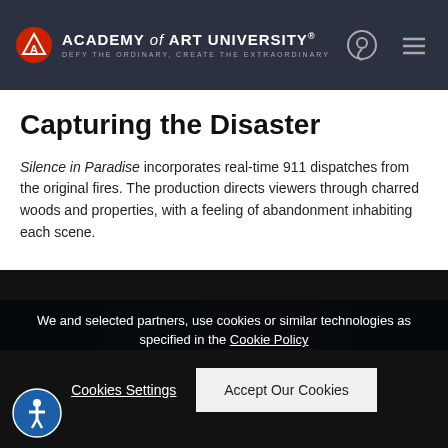ACADEMY of ART UNIVERSITY® DEFY THE ORDINARY, CREATE THE EXTRAORDINARY
Capturing the Disaster
Silence in Paradise incorporates real-time 911 dispatches from the original fires. The production directs viewers through charred woods and properties, with a feeling of abandonment inhabiting each scene.
[Figure (photo): Partial view of an image strip below the article text]
We and selected partners, use cookies or similar technologies as specified in the Cookie Policy
Cookies Settings    Accept Our Cookies